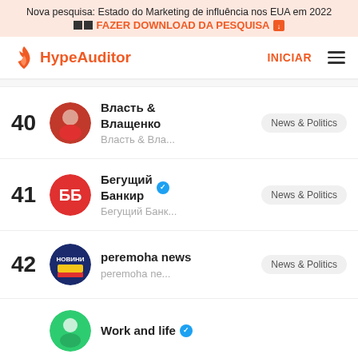Nova pesquisa: Estado do Marketing de influência nos EUA em 2022
FAZER DOWNLOAD DA PESQUISA
[Figure (logo): HypeAuditor logo with flame icon and navigation bar with INICIAR link and hamburger menu]
40 Власть & Влащенко — News & Politics
41 Бегущий Банкир (verified) — News & Politics
42 peremoha news — News & Politics
43 Work and life (partial)